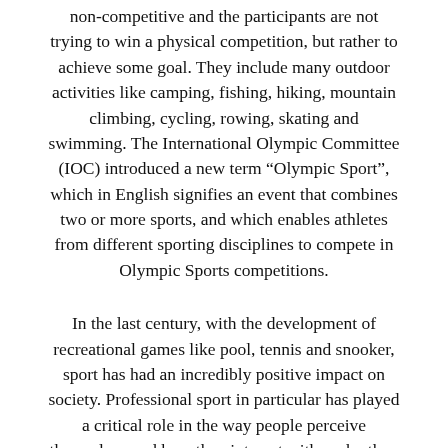non-competitive and the participants are not trying to win a physical competition, but rather to achieve some goal. They include many outdoor activities like camping, fishing, hiking, mountain climbing, cycling, rowing, skating and swimming. The International Olympic Committee (IOC) introduced a new term “Olympic Sport”, which in English signifies an event that combines two or more sports, and which enables athletes from different sporting disciplines to compete in Olympic Sports competitions.
In the last century, with the development of recreational games like pool, tennis and snooker, sport has had an incredibly positive impact on society. Professional sport in particular has played a critical role in the way people perceive themselves and how they interact with each other. Sport also provides an outlet for social interaction and social skill development, allowing people to show and prove their